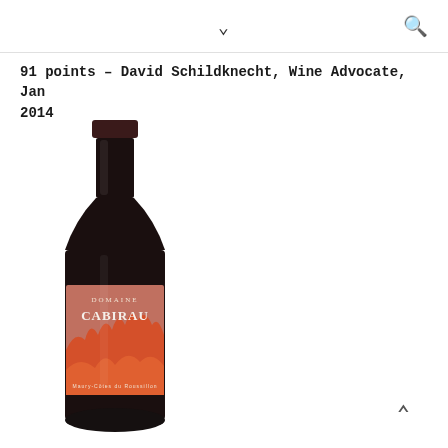91 points – David Schildknecht, Wine Advocate, Jan 2014
[Figure (photo): Wine bottle for Domaine Cabirau red wine with a dark bottle, salmon/orange label showing a castle silhouette and the text 'DOMAINE CABIRAU']